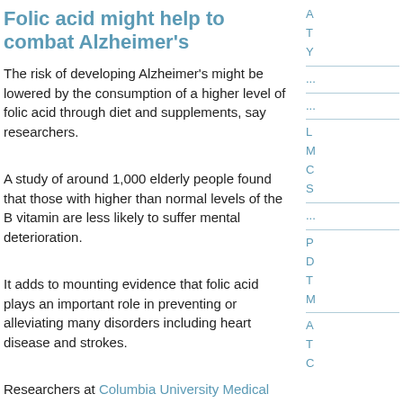Folic acid might help to combat Alzheimer's
The risk of developing Alzheimer's might be lowered by the consumption of a higher level of folic acid through diet and supplements, say researchers.
A study of around 1,000 elderly people found that those with higher than normal levels of the B vitamin are less likely to suffer mental deterioration.
It adds to mounting evidence that folic acid plays an important role in preventing or alleviating many disorders including heart disease and strokes.
Researchers at Columbia University Medical Centre in New York looked over six years at the diet and progress of 965 healthy people who had an average age of 75.